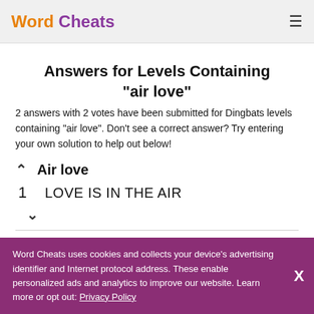Word Cheats
Answers for Levels Containing "air love"
2 answers with 2 votes have been submitted for Dingbats levels containing "air love". Don't see a correct answer? Try entering your own solution to help out below!
Air love
1 LOVE IS IN THE AIR
Word Cheats uses cookies and collects your device's advertising identifier and Internet protocol address. These enable personalized ads and analytics to improve our website. Learn more or opt out: Privacy Policy